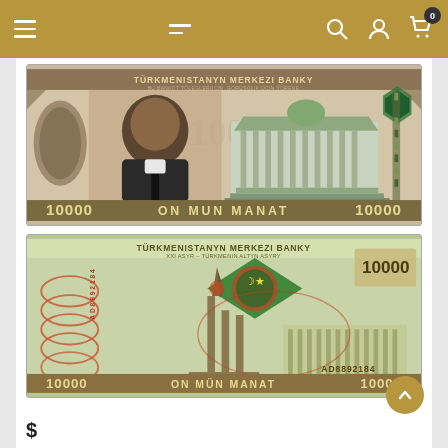Navigation bar with menu, search, account, and cart icons
[Figure (photo): Front side of Turkmenistan 10000 Manat banknote (TURKMENISTANYN MERKEZI BANKY). Features portrait of Saparmurat Niyazov on left, government building (Palace of Knowledge) center-right, denomination 10000 ON MUN MANAT printed at bottom. Greenish-brown color scheme.]
[Figure (photo): Reverse side of Turkmenistan 10000 Manat banknote (TURKMENISTANYN MERKEZI BANKY, XXI ASYR - TURKMENIN ALTYN ASYRY). Features Arch of Neutrality monument, serial number AD8892184, denomination 10000 ON MUN MANAT at bottom. Green and tan color scheme.]
$